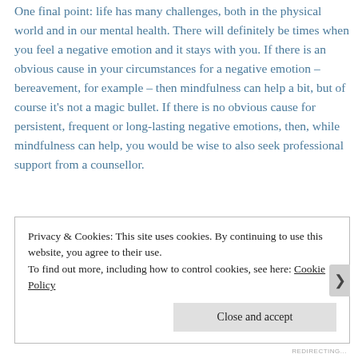One final point: life has many challenges, both in the physical world and in our mental health. There will definitely be times when you feel a negative emotion and it stays with you. If there is an obvious cause in your circumstances for a negative emotion – bereavement, for example – then mindfulness can help a bit, but of course it's not a magic bullet. If there is no obvious cause for persistent, frequent or long-lasting negative emotions, then, while mindfulness can help, you would be wise to also seek professional support from a counsellor.
Privacy & Cookies: This site uses cookies. By continuing to use this website, you agree to their use.
To find out more, including how to control cookies, see here: Cookie Policy
REDIRECTING...